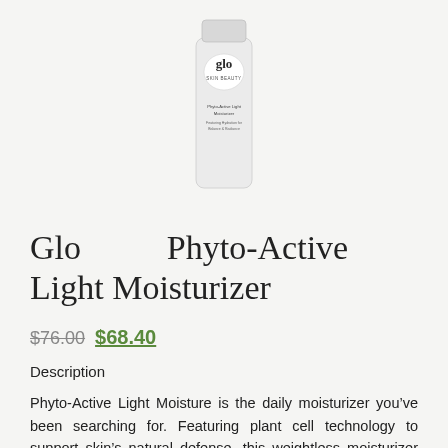[Figure (photo): White cylindrical product bottle for Glo Phyto-Active Light Moisturizer with green/black logo at top]
Glo Phyto-Active Light Moisturizer
$76.00 $68.40
Description
Phyto-Active Light Moisture is the daily moisturizer you’ve been searching for. Featuring plant cell technology to support skin’s natural defense, this weightless moisturizer glides on like silk and absorbs quickly for instant balance and radiance.
Product Features:
• Ideal for Fighting the Signs of Aging Skin